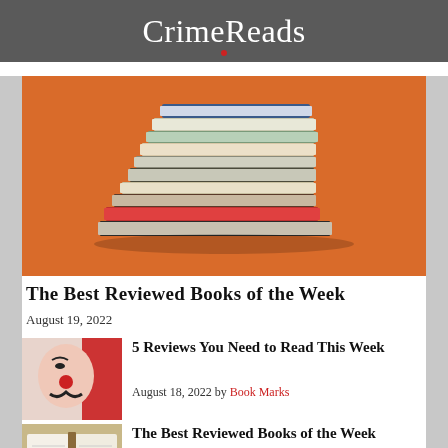CrimeReads
[Figure (photo): Stack of books on orange background]
The Best Reviewed Books of the Week
August 19, 2022
[Figure (illustration): Illustrated face with mustache and red nose on red/white background]
5 Reviews You Need to Read This Week
August 18, 2022 by Book Marks
[Figure (photo): Open book pages fanned]
The Best Reviewed Books of the Week
August 12, 2022 by Book Marks